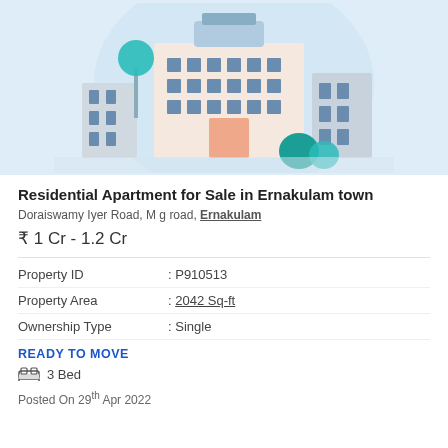[Figure (illustration): Illustrated building/apartment complex with trees, light blue background]
Residential Apartment for Sale in Ernakulam town
Doraiswamy Iyer Road, M g road, Ernakulam
₹ 1 Cr - 1.2 Cr
| Property ID | : P910513 |
| Property Area | : 2042 Sq-ft |
| Ownership Type | : Single |
READY TO MOVE
3 Bed
Posted On 29th Apr 2022